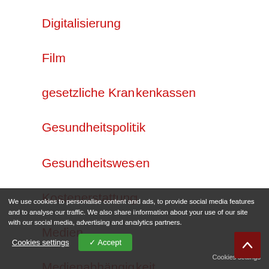Digitalisierung
Film
gesetzliche Krankenkassen
Gesundheitspolitik
Gesundheitswesen
Kostenerstattung
Medien
Medienabhängigkeit
Neurowissenschaften
Praxis
Prophylaxe
We use cookies to personalise content and ads, to provide social media features and to analyse our traffic. We also share information about your use of our site with our social media, advertising and analytics partners.
Cookies settings   ✓ Accept
Cookies settings